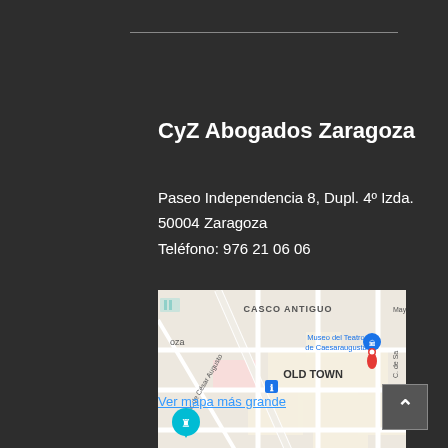CyZ Abogados Zaragoza
Paseo Independencia 8, Dupl. 4° Izda.
50004 Zaragoza
Teléfono: 976 21 06 06
[Figure (map): Google Maps screenshot showing Zaragoza city center area with CASCO ANTIGUO / OLD TOWN labeled, Museo del Teatro de Caesaraugusta, Museo de Zaragoza, Av. de César Augusto street, and two map pins visible.]
Ver mapa más grande